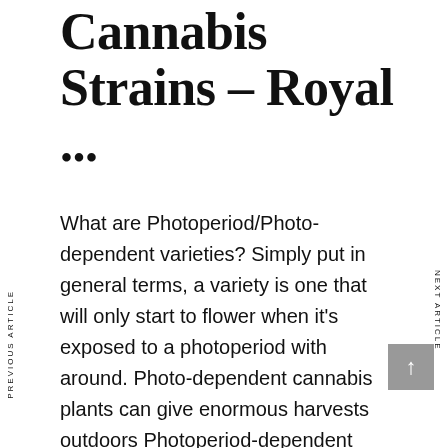Cannabis Strains – Royal ...
What are Photoperiod/Photo-dependent varieties? Simply put in general terms, a variety is one that will only start to flower when it's exposed to a photoperiod with around. Photo-dependent cannabis plants can give enormous harvests outdoors Photoperiod-dependent varieties are the type of cannabis that growers have been cultivating forever.
PREVIOUS ARTICLE
NEXT ARTICLE